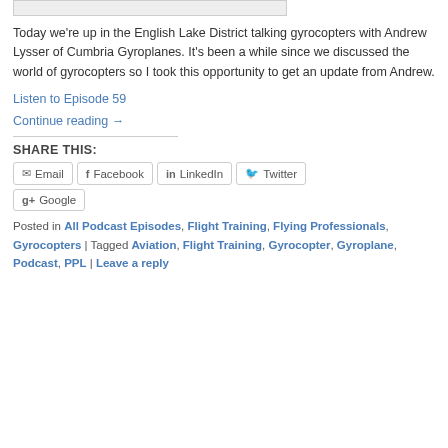[Figure (photo): Partial image stub at top of page]
Today we're up in the English Lake District talking gyrocopters with Andrew Lysser of Cumbria Gyroplanes. It's been a while since we discussed the world of gyrocopters so I took this opportunity to get an update from Andrew.
Listen to Episode 59
Continue reading →
SHARE THIS:
Email | Facebook | LinkedIn | Twitter | Google
Posted in All Podcast Episodes, Flight Training, Flying Professionals, Gyrocopters | Tagged Aviation, Flight Training, Gyrocopter, Gyroplane, Podcast, PPL | Leave a reply